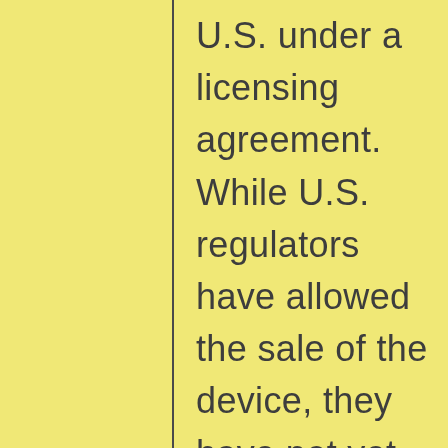U.S. under a licensing agreement. While U.S. regulators have allowed the sale of the device, they have not yet ruled on whether iQOS can be marketed as less